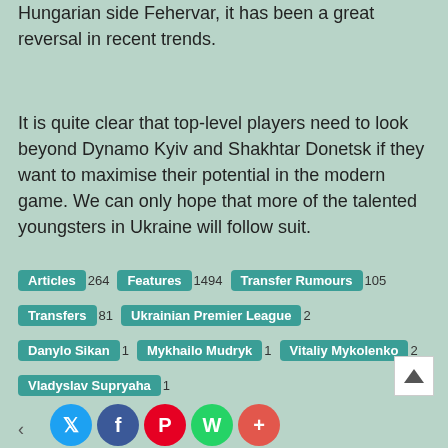Hungarian side Fehervar, it has been a great reversal in recent trends.
It is quite clear that top-level players need to look beyond Dynamo Kyiv and Shakhtar Donetsk if they want to maximise their potential in the modern game. We can only hope that more of the talented youngsters in Ukraine will follow suit.
Articles 264
Features 1494
Transfer Rumours 105
Transfers 81
Ukrainian Premier League 2
Danylo Sikan 1
Mykhailo Mudryk 1
Vitaliy Mykolenko 2
Vladyslav Supryaha 1